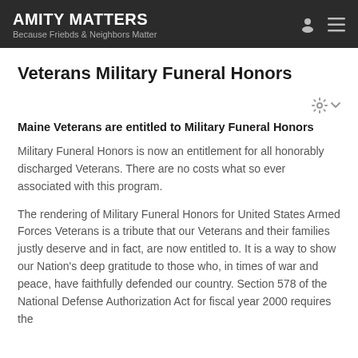AMITY MATTERS — Because Friebds & Neighbors Matter
Veterans Military Funeral Honors
Maine Veterans are entitled to Military Funeral Honors
Military Funeral Honors is now an entitlement for all honorably discharged Veterans. There are no costs what so ever associated with this program.
The rendering of Military Funeral Honors for United States Armed Forces Veterans is a tribute that our Veterans and their families justly deserve and in fact, are now entitled to. It is a way to show our Nation's deep gratitude to those who, in times of war and peace, have faithfully defended our country. Section 578 of the National Defense Authorization Act for fiscal year 2000 requires the